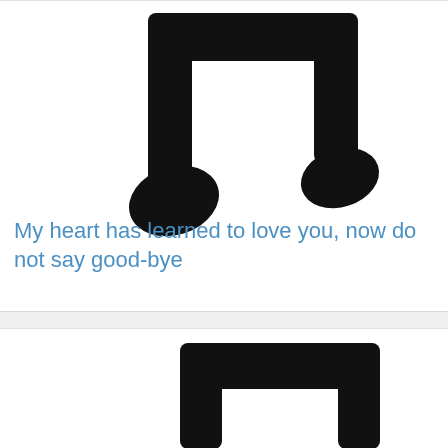[Figure (illustration): Large black double music note (beamed eighth notes) icon centered in upper card]
My heart has learned to love you, now do not say good-bye
[Figure (illustration): Partial black music note icon (beamed notes, top portion visible) in lower card]